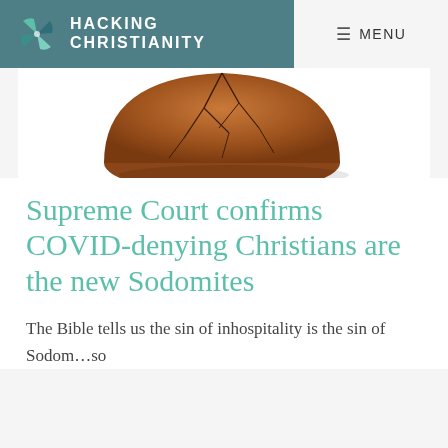HACKING CHRISTIANITY   ≡ MENU
[Figure (photo): Partial view of a cracked brown clay or ceramic dome-shaped object, cropped at top of image]
Supreme Court confirms COVID-denying Christians are the new Sodomites
The Bible tells us the sin of inhospitality is the sin of Sodom…so